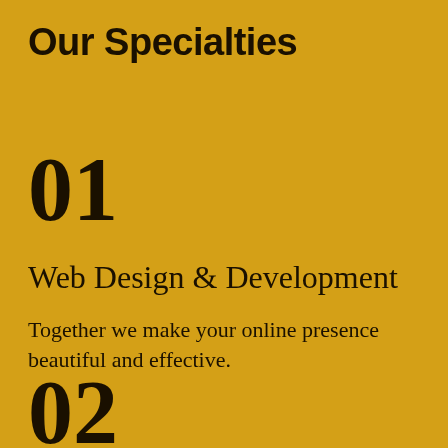Our Specialties
01
Web Design & Development
Together we make your online presence beautiful and effective.
02